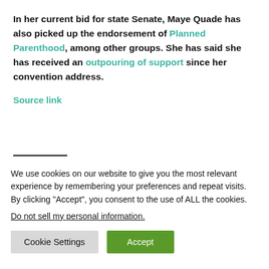In her current bid for state Senate, Maye Quade has also picked up the endorsement of Planned Parenthood, among other groups. She has said she has received an outpouring of support since her convention address.
Source link
We use cookies on our website to give you the most relevant experience by remembering your preferences and repeat visits. By clicking “Accept”, you consent to the use of ALL the cookies.
Do not sell my personal information.